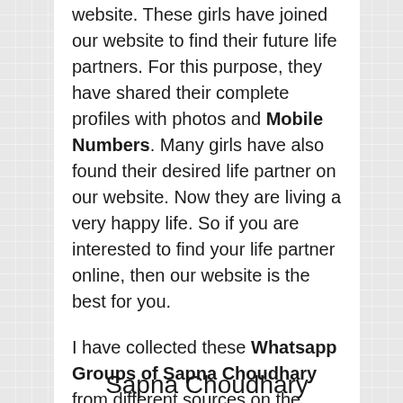website. These girls have joined our website to find their future life partners. For this purpose, they have shared their complete profiles with photos and Mobile Numbers. Many girls have also found their desired life partner on our website. Now they are living a very happy life. So if you are interested to find your life partner online, then our website is the best for you.
I have collected these Whatsapp Groups of Sapna Choudhary from different sources on the internet. So they do not belong to our website. They are the property of the respective owners. But they are related to only Sapna Choudhary. So join these groups and listen, watch and chat with Sapna Choudhary.
Sapna Choudhary